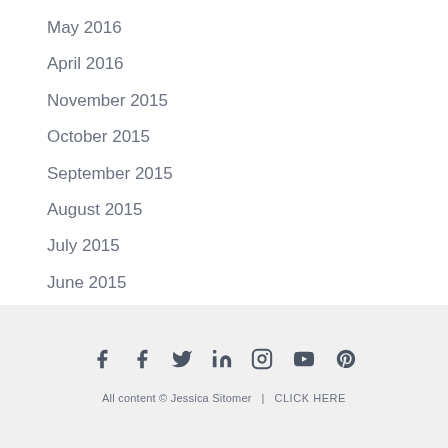May 2016
April 2016
November 2015
October 2015
September 2015
August 2015
July 2015
June 2015
All content © Jessica Sitomer  |  CLICK HERE